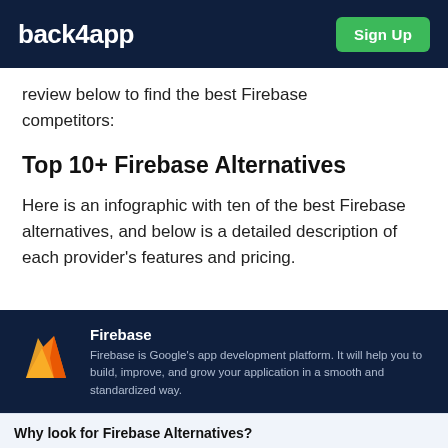back4app  Sign Up
review below to find the best Firebase competitors:
Top 10+ Firebase Alternatives
Here is an infographic with ten of the best Firebase alternatives, and below is a detailed description of each provider’s features and pricing.
[Figure (infographic): Dark navy infographic card showing Firebase logo (flame icon in yellow/orange) with title 'Firebase' and description: 'Firebase is Google’s app development platform. It will help you to build, improve, and grow your application in a smooth and standardized way.' Below is a section header 'Why look for Firebase Alternatives?']